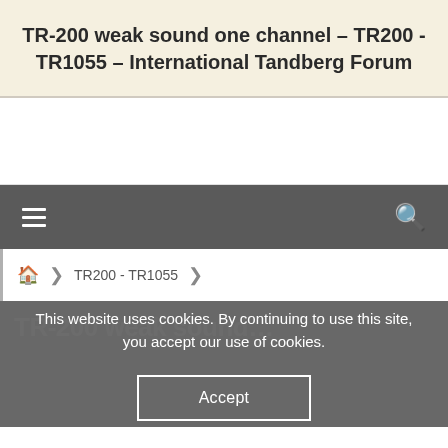TR-200 weak sound one channel – TR200 - TR1055 – International Tandberg Forum
[Figure (screenshot): Navigation bar with hamburger menu icon on the left and orange search icon on the right, dark gray background]
🏠 > TR200 - TR1055 >
This website uses cookies. By continuing to use this site, you accept our use of cookies.
Accept